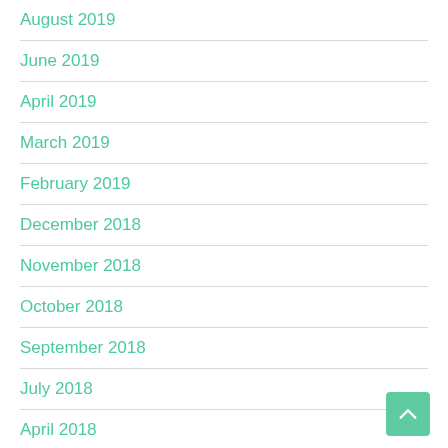August 2019
June 2019
April 2019
March 2019
February 2019
December 2018
November 2018
October 2018
September 2018
July 2018
April 2018
February 2018
January 2018